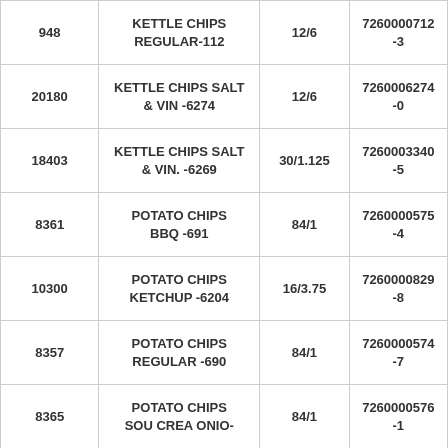| 948 | KETTLE CHIPS REGULAR-112 | 12/6 | 7260000712-3 |
| 20180 | KETTLE CHIPS SALT & VIN -6274 | 12/6 | 7260006274-0 |
| 18403 | KETTLE CHIPS SALT & VIN. -6269 | 30/1.125 | 7260003340-5 |
| 8361 | POTATO CHIPS BBQ -691 | 84/1 | 7260000575-4 |
| 10300 | POTATO CHIPS KETCHUP -6204 | 16/3.75 | 7260000829-8 |
| 8357 | POTATO CHIPS REGULAR -690 | 84/1 | 7260000574-7 |
| 8365 | POTATO CHIPS SOU CREA ONIO- | 84/1 | 7260000576-1 |